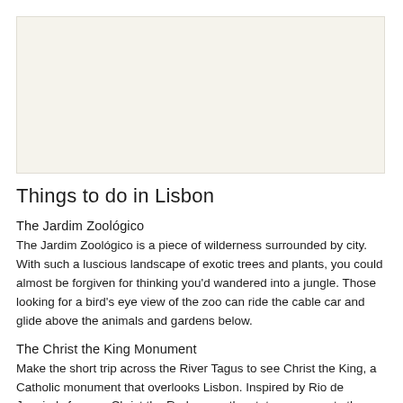[Figure (photo): Placeholder image area, light beige/cream background]
Things to do in Lisbon
The Jardim Zoológico
The Jardim Zoológico is a piece of wilderness surrounded by city. With such a luscious landscape of exotic trees and plants, you could almost be forgiven for thinking you'd wandered into a jungle. Those looking for a bird's eye view of the zoo can ride the cable car and glide above the animals and gardens below.
The Christ the King Monument
Make the short trip across the River Tagus to see Christ the King, a Catholic monument that overlooks Lisbon. Inspired by Rio de Janeiro's famous Christ the Redeemer, the statue represents the Catholic religion still so important in Lisbon